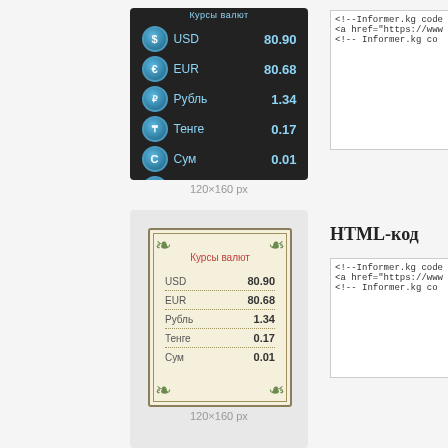[Figure (screenshot): Dark-themed currency widget showing exchange rates: USD 80.90, EUR 80.68, Рубль 1.34, Тенге 0.17, Сум 0.01, Юань 11.71 with circular currency icons]
120×160 px
[Figure (screenshot): Code box showing <!--Informer.kg code, <a href="https://www, <!-- Informer.kg co]
HTML-код
[Figure (screenshot): Vintage/parchment themed currency widget showing: Курсы валют, USD 80.90, EUR 80.68, Рубль 1.34, Тенге 0.17, Сум 0.01 with ornamental border]
120×160 px
[Figure (screenshot): Code box showing <!--Informer.kg code, <a href="https://www, <!-- Informer.kg co]